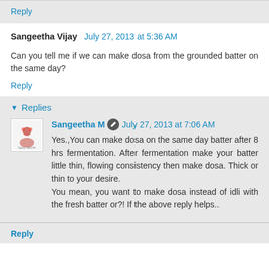Reply
Sangeetha Vijay  July 27, 2013 at 5:36 AM
Can you tell me if we can make dosa from the grounded batter on the same day?
Reply
Replies
Sangeetha M  July 27, 2013 at 7:06 AM
Yes.,You can make dosa on the same day batter after 8 hrs fermentation. After fermentation make your batter little thin, flowing consistency then make dosa. Thick or thin to your desire.
You mean, you want to make dosa instead of idli with the fresh batter or?! If the above reply helps..
Reply